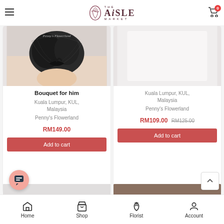The Aisle Market
[Figure (screenshot): Product card: Bouquet for him - dark bow/tulle arrangement photo]
Bouquet for him
Kuala Lumpur, KUL, Malaysia
Penny's Flowerland
RM149.00
Add to cart
[Figure (screenshot): Product card: second item - white/plain product image]
Kuala Lumpur, KUL, Malaysia
Penny's Flowerland
RM109.00 RM125.00
Add to cart
Home  Shop  Florist  Account